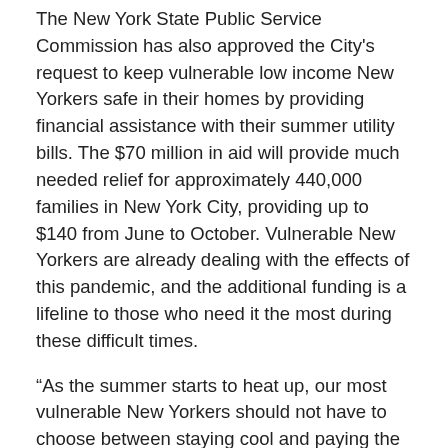The New York State Public Service Commission has also approved the City's request to keep vulnerable low income New Yorkers safe in their homes by providing financial assistance with their summer utility bills. The $70 million in aid will provide much needed relief for approximately 440,000 families in New York City, providing up to $140 from June to October. Vulnerable New Yorkers are already dealing with the effects of this pandemic, and the additional funding is a lifeline to those who need it the most during these difficult times.
“As the summer starts to heat up, our most vulnerable New Yorkers should not have to choose between staying cool and paying the bills,” said Deputy Mayor Laura Anglin. “This decision from the Public Service Commission will impact hundreds of thousands of families throughout New York City for the better, when so many continue to grapple with this virus. As a City, we will continue to double down on our efforts to ensure that all New Yorkers have a safe and cool place to be when the summer heat hits.”